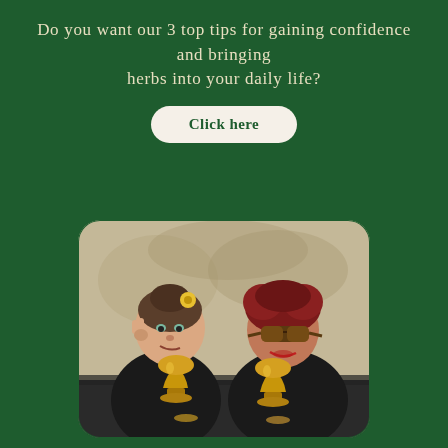Do you want our 3 top tips for gaining confidence and bringing herbs into your daily life?
Click here
[Figure (photo): Two women posing playfully, both dressed in black, holding golden trophy-shaped cups. The woman on the left has her hair up with a yellow flower, making a peace sign near her eye. The woman on the right has short red curly hair and is wearing brown oversized sunglasses. They are seated against a textured wall background.]